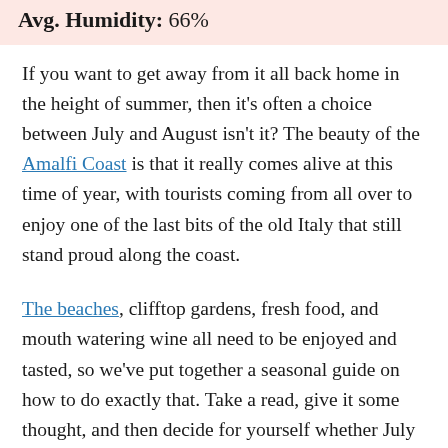Avg. Humidity: 66%
If you want to get away from it all back home in the height of summer, then it’s often a choice between July and August isn’t it? The beauty of the Amalfi Coast is that it really comes alive at this time of year, with tourists coming from all over to enjoy one of the last bits of the old Italy that still stand proud along the coast.
The beaches, clifftop gardens, fresh food, and mouth watering wine all need to be enjoyed and tasted, so we’ve put together a seasonal guide on how to do exactly that. Take a read, give it some thought, and then decide for yourself whether July will be the month you